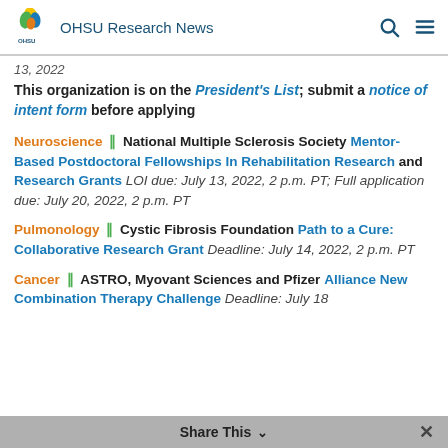OHSU Research News
13, 2022
This organization is on the President's List; submit a notice of intent form before applying
Neuroscience || National Multiple Sclerosis Society Mentor-Based Postdoctoral Fellowships In Rehabilitation Research and Research Grants LOI due: July 13, 2022, 2 p.m. PT; Full application due: July 20, 2022, 2 p.m. PT
Pulmonology || Cystic Fibrosis Foundation Path to a Cure: Collaborative Research Grant Deadline: July 14, 2022, 2 p.m. PT
Cancer || ASTRO, Myovant Sciences and Pfizer Alliance New Combination Therapy Challenge Deadline: July 18
Share This